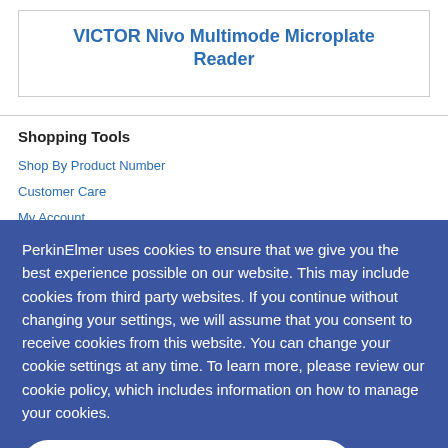VICTOR Nivo Multimode Microplate Reader
Shopping Tools
Shop By Product Number
Customer Care
My Account
Order Support
Technical Support
Request Service Visit
PerkinElmer uses cookies to ensure that we give you the best experience possible on our website. This may include cookies from third party websites. If you continue without changing your settings, we will assume that you consent to receive cookies from this website. You can change your cookie settings at any time. To learn more, please review our cookie policy, which includes information on how to manage your cookies.
CONTINUE
Connect